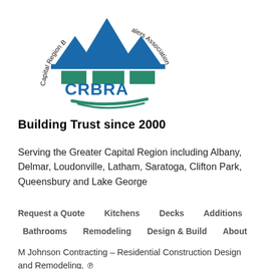[Figure (logo): CRBRA – Capital Region Builders Association logo with blue house/mountain shapes, teal/green rectangles, and circular text reading 'Capital Region Builders Association']
Building Trust since 2000
Serving the Greater Capital Region including Albany, Delmar, Loudonville, Latham, Saratoga, Clifton Park, Queensbury and Lake George
Request a Quote
Kitchens
Decks
Additions
Bathrooms
Remodeling
Design & Build
About
M Johnson Contracting – Residential Construction Design and Remodeling, ℗